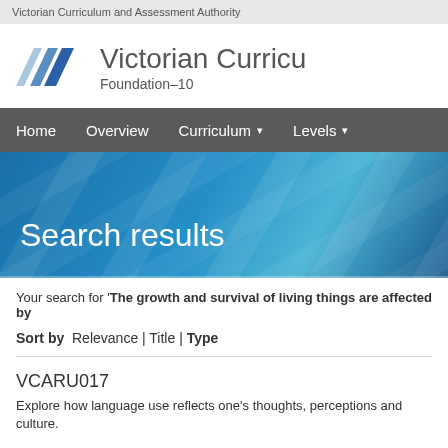Victorian Curriculum and Assessment Authority
[Figure (logo): Victorian Curriculum Foundation-10 logo with blue chevron/arrow mark]
Search results
Your search for 'The growth and survival of living things are affected by
Sort by  Relevance | Title | Type
VCARU017
Explore how language use reflects one's thoughts, perceptions and culture.